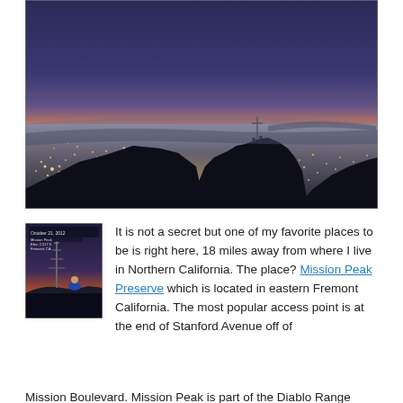[Figure (photo): Aerial panoramic night/twilight photograph taken from Mission Peak looking down over the San Francisco Bay Area city lights at sunset, with a dark silhouetted foreground ridge and a colorful orange-to-blue gradient sky.]
[Figure (photo): Small thumbnail photo of a person sitting on rocks at Mission Peak at sunset with a communications tower visible, with text overlay showing date and location information.]
It is not a secret but one of my favorite places to be is right here, 18 miles away from where I live in Northern California.  The place? Mission Peak Preserve which is located in eastern Fremont California. The most popular access point is at the end of Stanford Avenue off of Mission Boulevard. Mission Peak is part of the Diablo Range